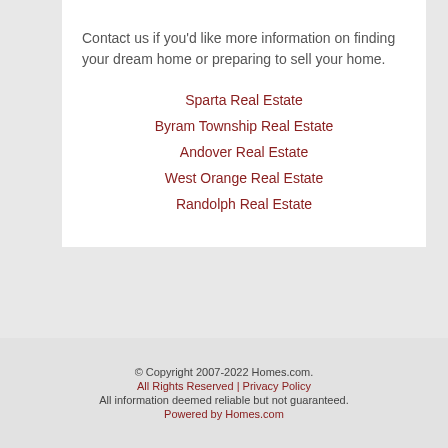Contact us if you'd like more information on finding your dream home or preparing to sell your home.
Sparta Real Estate
Byram Township Real Estate
Andover Real Estate
West Orange Real Estate
Randolph Real Estate
© Copyright 2007-2022 Homes.com. All Rights Reserved | Privacy Policy All information deemed reliable but not guaranteed. Powered by Homes.com